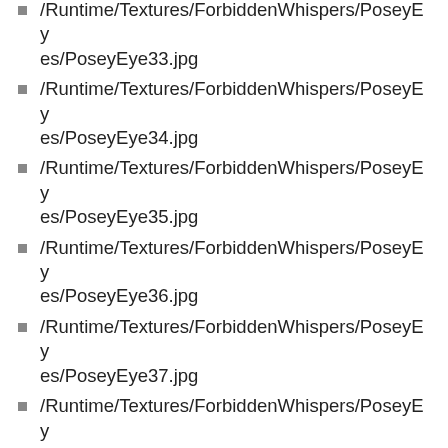/Runtime/Textures/ForbiddenWhispers/PoseyEyes/PoseyEye33.jpg
/Runtime/Textures/ForbiddenWhispers/PoseyEyes/PoseyEye34.jpg
/Runtime/Textures/ForbiddenWhispers/PoseyEyes/PoseyEye35.jpg
/Runtime/Textures/ForbiddenWhispers/PoseyEyes/PoseyEye36.jpg
/Runtime/Textures/ForbiddenWhispers/PoseyEyes/PoseyEye37.jpg
/Runtime/Textures/ForbiddenWhispers/PoseyEyes/PoseyEye38.jpg
/Runtime/Textures/ForbiddenWhispers/PoseyEyes/PoseyEye39.jpg
/Runtime/Textures/ForbiddenWhispers/PoseyEyes/PoseyEye4.jpg
/Runtime/Textures/ForbiddenWhispers/PoseyEyes/PoseyEye40.jpg
/Runtime/Textures/ForbiddenWhispers/PoseyEyes/PoseyEye41.jpg
/Runtime/Textures/ForbiddenWhispers/PoseyEy…